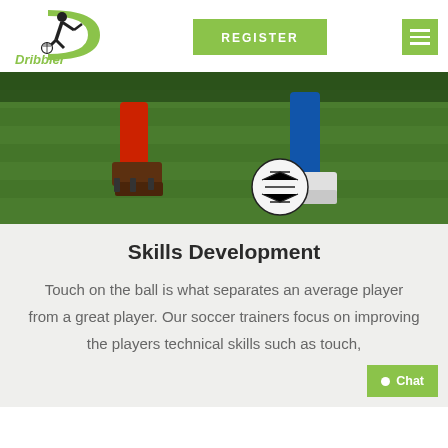[Figure (logo): Dribbler soccer logo with a footballer silhouette kicking a ball and a green D arc shape, with text 'Dribbler' below]
[Figure (screenshot): Register button (green background, white uppercase text 'REGISTER') and hamburger menu icon (green background, three white bars)]
[Figure (photo): Close-up photo of two soccer players' legs on a green grass field, with a soccer ball. One player wears red and brown cleats, other wears blue and white cleats.]
Skills Development
Touch on the ball is what separates an average player from a great player. Our soccer trainers focus on improving the players technical skills such as touch,